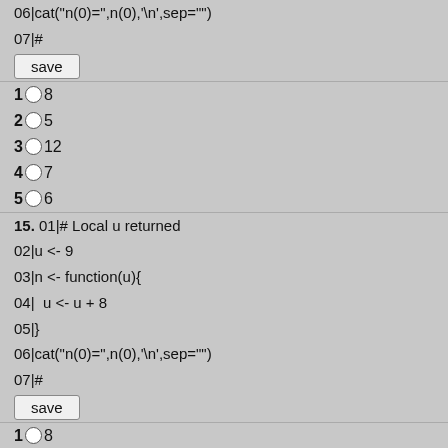06|cat("n(0)=",n(0),'\n',sep="")
07|#
[Figure (screenshot): save button]
1 (radio) 8
2 (radio) 5
3 (radio) 12
4 (radio) 7
5 (radio) 6
15. 01|# Local u returned
02|u <- 9
03|n <- function(u){
04|  u <- u + 8
05|}
06|cat("n(0)=",n(0),'\n',sep="")
07|#
[Figure (screenshot): save button]
1 (radio) 8
2 (radio) 5